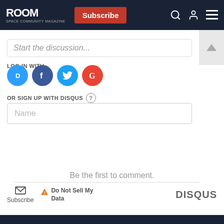ROOM — Subscribe
Start the discussion...
LOG IN WITH
[Figure (illustration): Social login icons: Disqus (blue speech bubble D), Facebook (dark blue F), Twitter (light blue bird), Google (red G)]
OR SIGN UP WITH DISQUS
Name
Be the first to comment.
Subscribe
Do Not Sell My Data
DISQUS